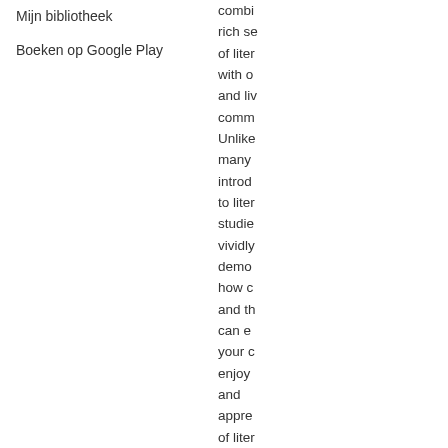Mijn bibliotheek
Boeken op Google Play
combi rich se of liter with o and li comm Unlike many introd to liter studie vividly demo how c and th can e your c enjoy and appre of liter Aimed A2 an